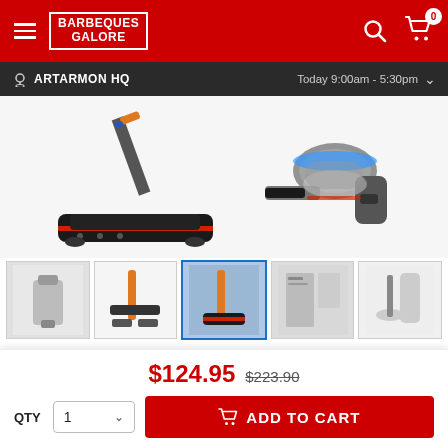Barbeques Galore
ARTARMON HQ  Today 9:00am - 5:30pm
[Figure (photo): Main product image of a cordless vacuum cleaner showing the floor head attachment on the left and the handheld unit on the right, on a white background]
[Figure (photo): Thumbnail gallery of 5 product images showing various angles and uses of the vacuum cleaner]
Product ID: 51179
Learn More
$124.95  $223.90
$124.95  $223.90  QTY  1  ADD TO CART